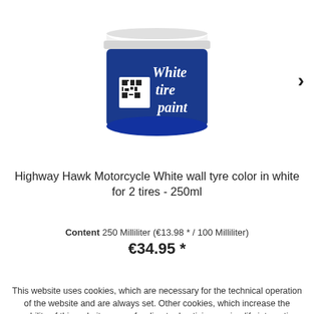[Figure (photo): A round container of white tire paint with a blue label reading 'White tire paint']
Highway Hawk Motorcycle White wall tyre color in white for 2 tires - 250ml
Content 250 Milliliter (€13.98 * / 100 Milliliter)
€34.95 *
This website uses cookies, which are necessary for the technical operation of the website and are always set. Other cookies, which increase the usability of this website, serve for direct advertising or simplify interaction with other websites and social networks, will only be used with your consent.
Decline | Accept all | Configure